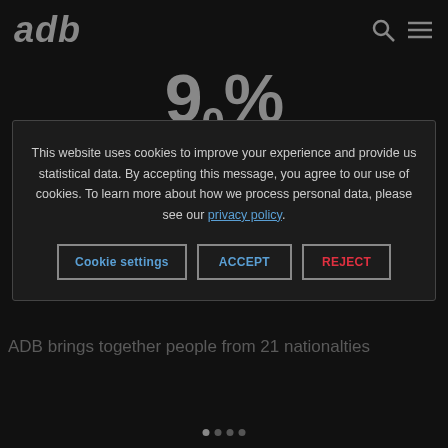adb
90%
This website uses cookies to improve your experience and provide us statistical data. By accepting this message, you agree to our use of cookies. To learn more about how we process personal data, please see our privacy policy.
Cookie settings | ACCEPT | REJECT
ADB brings together people from 21 nationalties